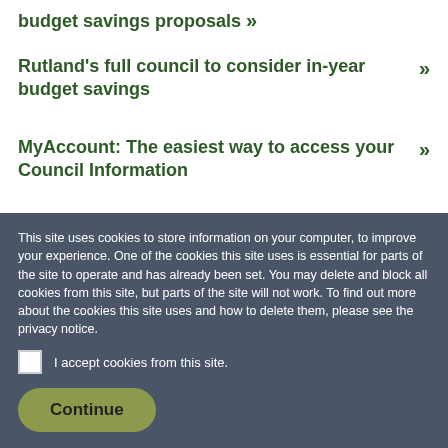budget savings proposals »
Rutland's full council to consider in-year budget savings »
MyAccount: The easiest way to access your Council Information »
Future leisure options considered by cabinet »
This site uses cookies to store information on your computer, to improve your experience. One of the cookies this site uses is essential for parts of the site to operate and has already been set. You may delete and block all cookies from this site, but parts of the site will not work. To find out more about the cookies this site uses and how to delete them, please see the privacy notice.
I accept cookies from this site.
Continue